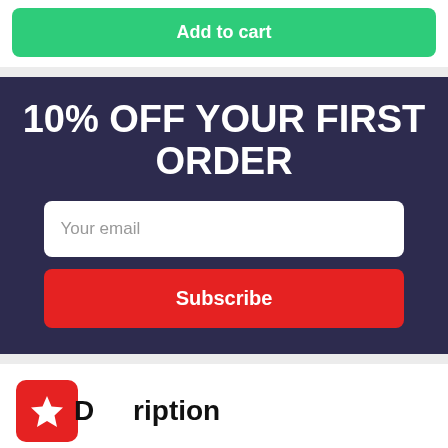Add to cart
10% OFF YOUR FIRST ORDER
Your email
Subscribe
Description
Green Energy Crush is a tangy, sweet and sparkling one